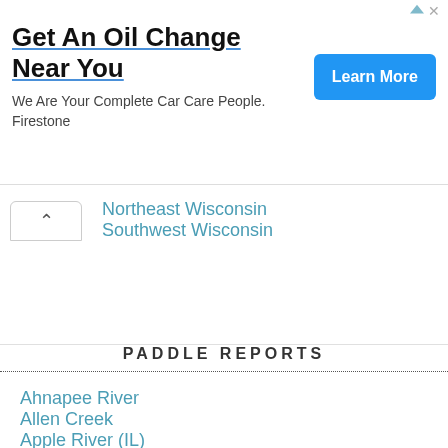[Figure (infographic): Advertisement banner for Firestone oil change service. Title: 'Get An Oil Change Near You', subtitle: 'We Are Your Complete Car Care People. Firestone', with a blue 'Learn More' button.]
Northeast Wisconsin
Southwest Wisconsin
PADDLE REPORTS
Ahnapee River
Allen Creek
Apple River (IL)
Ashippun River
Badfish Creek